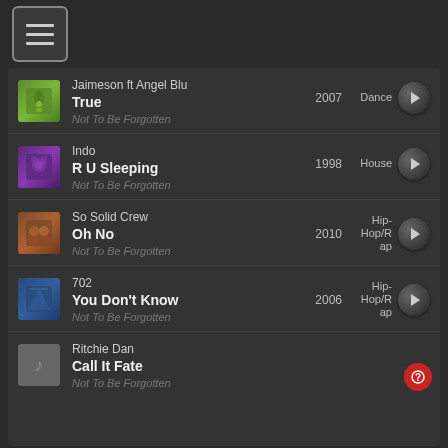[Figure (screenshot): Menu hamburger button in top-left corner with three horizontal lines inside a rounded rectangle border]
Jaimeson ft Angel Blu | True | Not To Be Forgotten | 2007 | Dance
Indo | R U Sleeping | Not To Be Forgotten | 1998 | House
So Solid Crew | Oh No | Not To Be Forgotten | 2010 | Hip-Hop/Rap
702 | You Don't Know | Not To Be Forgotten | 2006 | Hip-Hop/Rap
Ritchie Dan | Call It Fate | Not To Be Forgotten